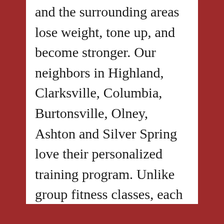and the surrounding areas lose weight, tone up, and become stronger. Our neighbors in Highland, Clarksville, Columbia, Burtonsville, Olney, Ashton and Silver Spring love their personalized training program. Unlike group fitness classes, each client receives a custom program. We'd love to help you too. Call us at 301-452-5547 to see for yourself. Mention this article for a free session!
Save